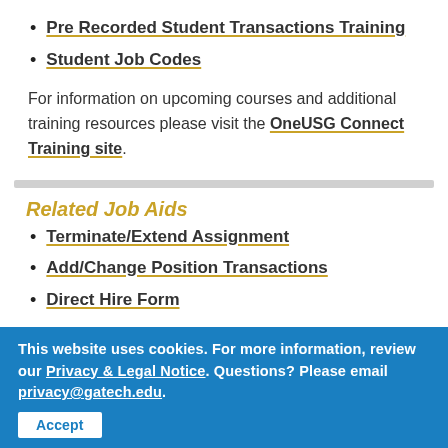Pre Recorded Student Transactions Training
Student Job Codes
For information on upcoming courses and additional training resources please visit the OneUSG Connect Training site.
Related Job Aids
Terminate/Extend Assignment
Add/Change Position Transactions
Direct Hire Form
This website uses cookies. For more information, review our Privacy & Legal Notice. Questions? Please email privacy@gatech.edu.
Accept